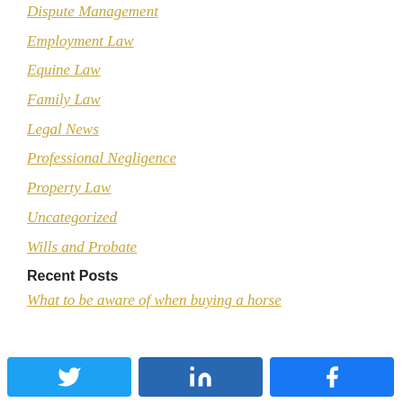Dispute Management
Employment Law
Equine Law
Family Law
Legal News
Professional Negligence
Property Law
Uncategorized
Wills and Probate
Recent Posts
What to be aware of when buying a horse